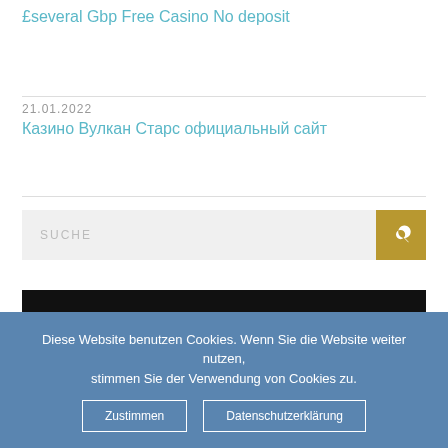£several Gbp Free Casino No deposit
21.01.2022
Казино Вулкан Старс официальный сайт
SUCHE
CATEGORIES
Bahis siteleri (1)
bahis sitesi (1)
Diese Website benutzen Cookies. Wenn Sie die Website weiter nutzen, stimmen Sie der Verwendung von Cookies zu.